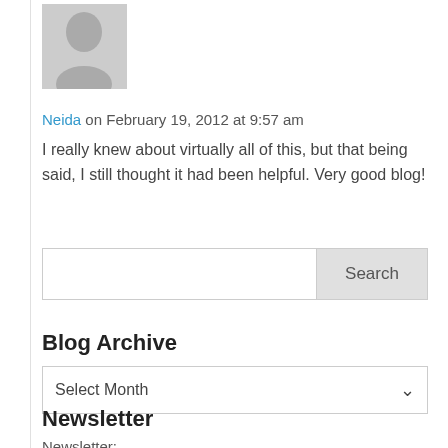[Figure (illustration): Gray default avatar silhouette with head and shoulders shape on gray background]
Neida on February 19, 2012 at 9:57 am
I really knew about virtually all of this, but that being said, I still thought it had been helpful. Very good blog!
[Figure (screenshot): Search input box with Search button on the right]
Blog Archive
[Figure (screenshot): Dropdown select widget showing 'Select Month' with chevron arrow]
Newsletter
Newsletter: